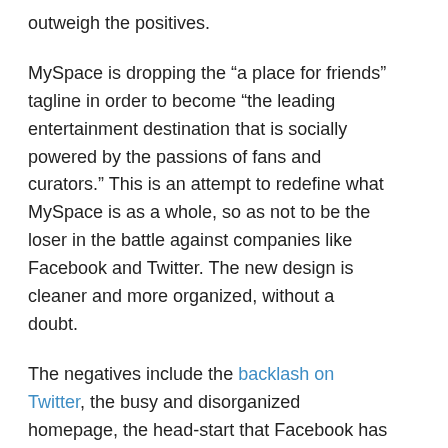outweigh the positives.
MySpace is dropping the “a place for friends” tagline in order to become “the leading entertainment destination that is socially powered by the passions of fans and curators.”  This is an attempt to redefine what MySpace is as a whole, so as not to be the loser in the battle against companies like Facebook and Twitter.  The new design is cleaner and more organized, without a doubt.
The negatives include the backlash on Twitter, the busy and disorganized homepage, the head-start that Facebook has (with 500 million users, compared to MySpace’s 61 million), and quite a bit more.  Also, have you seen the MySpace Logo Video?  Bizarre.  Very bizarre.   Continue reading →